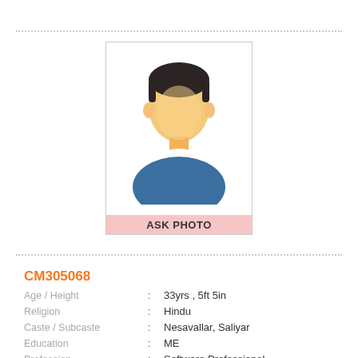[Figure (illustration): Generic male avatar/silhouette placeholder photo with 'ASK PHOTO' label at the bottom on a pink background]
CM305068
| Age / Height | : | 33yrs , 5ft 5in |
| Religion | : | Hindu |
| Caste / Subcaste | : | Nesavallar, Saliyar |
| Education | : | ME |
| Profession | : | Software Professional |
| Salary | : | 40000 |
| Location | : | Kallkkulam |
| Star / Rasi | : | Moolam ,Dhanus (Sagittarius); |